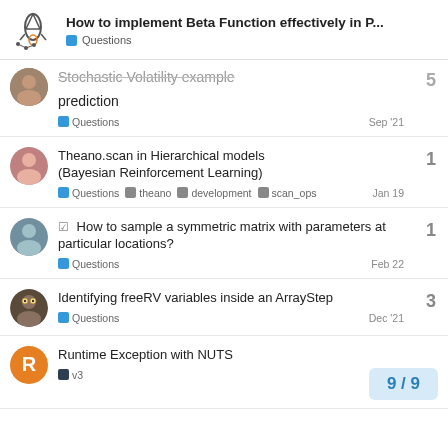How to implement Beta Function effectively in P... — Questions
Stochastic Volatility example prediction — Questions — Sep '21 — replies: 5
Theano.scan in Hierarchical models (Bayesian Reinforcement Learning) — Questions theano development scan_ops — Jan 19 — replies: 1
How to sample a symmetric matrix with parameters at particular locations? — Questions — Feb 22 — replies: 1
Identifying freeRV variables inside an ArrayStep — Questions — Dec '21 — replies: 3
Runtime Exception with NUTS — v3 — replies: (pagination 9/9)